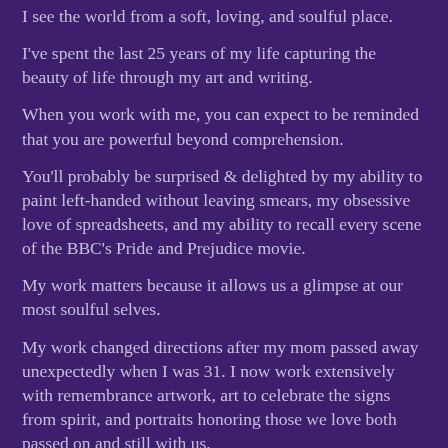I see the world from a soft, loving, and soulful place.
I've spent the last 25 years of my life capturing the beauty of life through my art and writing.
When you work with me, you can expect to be reminded that you are powerful beyond comprehension.
You'll probably be surprised & delighted by my ability to paint left-handed without leaving smears, my obsessive love of spreadsheets, and my ability to recall every scene of the BBC's Pride and Prejudice movie.
My work matters because it allows us a glimpse at our most soulful selves.
My work changed directions after my mom passed away unexpectedly when I was 31. I now work extensively with remembrance artwork, art to celebrate the signs from spirit, and portraits honoring those we love both passed on and still with us.